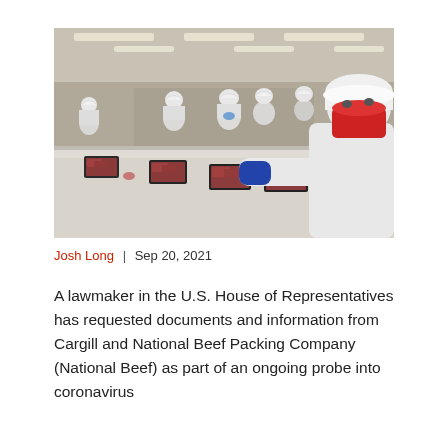[Figure (photo): Workers in white protective gear and hard hats working at a meat packing plant conveyor belt with trays of raw beef; one worker in foreground wearing a red face mask and blue gloves.]
Josh Long | Sep 20, 2021
A lawmaker in the U.S. House of Representatives has requested documents and information from Cargill and National Beef Packing Company (National Beef) as part of an ongoing probe into coronavirus